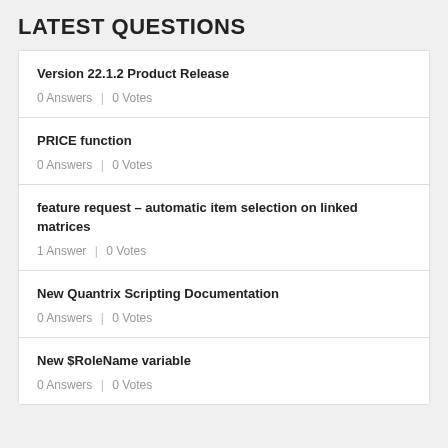LATEST QUESTIONS
Version 22.1.2 Product Release
0 Answers | 0 Votes
PRICE function
0 Answers | 0 Votes
feature request – automatic item selection on linked matrices
1 Answer | 0 Votes
New Quantrix Scripting Documentation
0 Answers | 0 Votes
New $RoleName variable
0 Answers | 0 Votes